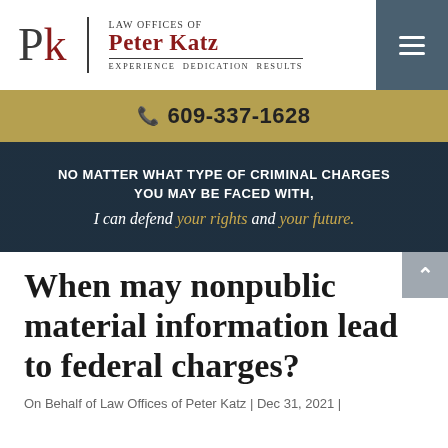[Figure (logo): Law Offices of Peter Katz logo with PK monogram, vertical divider, firm name in dark red, and tagline 'Experience Dedication Results']
609-337-1628
NO MATTER WHAT TYPE OF CRIMINAL CHARGES YOU MAY BE FACED WITH, I can defend your rights and your future.
When may nonpublic material information lead to federal charges?
On Behalf of Law Offices of Peter Katz | Dec 31, 2021 |